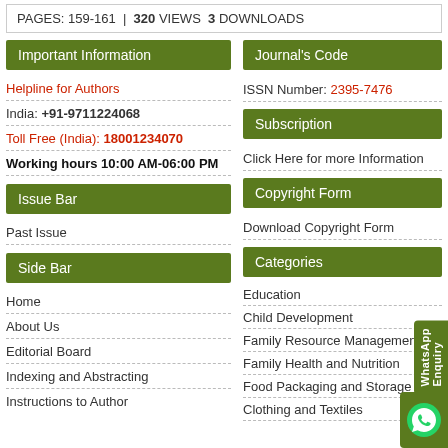PAGES: 159-161  |  320 VIEWS  3 DOWNLOADS
Important Information
Helpline for Authors
India: +91-9711224068
Toll Free (India): 18001234070
Working hours 10:00 AM-06:00 PM
Issue Bar
Past Issue
Side Bar
Home
About Us
Editorial Board
Indexing and Abstracting
Instructions to Author
Journal's Code
ISSN Number: 2395-7476
Subscription
Click Here for more Information
Copyright Form
Download Copyright Form
Categories
Education
Child Development
Family Resource Management
Family Health and Nutrition
Food Packaging and Storage
Clothing and Textiles